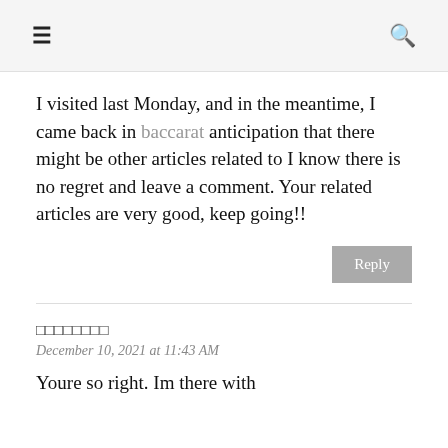≡  🔍
I visited last Monday, and in the meantime, I came back in baccarat anticipation that there might be other articles related to I know there is no regret and leave a comment. Your related articles are very good, keep going!!
Reply
□□□□□□□□
December 10, 2021 at 11:43 AM
Youre so right. Im there with you.